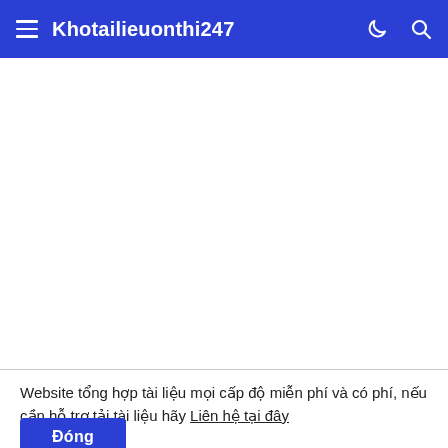Khotailieuonthi247
[Figure (screenshot): White blank content area below the navigation bar]
Website tổng hợp tài liệu mọi cấp độ miễn phí và có phí, nếu cần hỗ trợ tải tài liệu hãy Liên hệ tại đây
Đóng